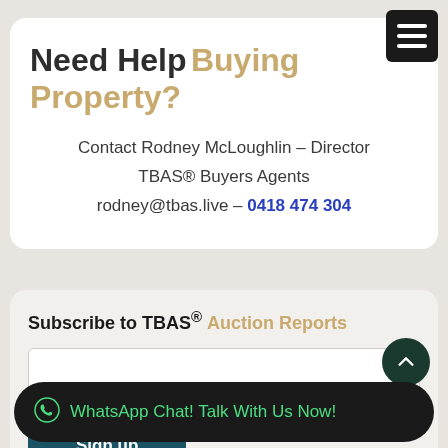Need Help Buying Property?
Contact Rodney McLoughlin – Director
TBAS® Buyers Agents
rodney@tbas.live – 0418 474 304
Subscribe to TBAS® Auction Reports
Sign up
WhatsApp Chat! Talk With Us Now!